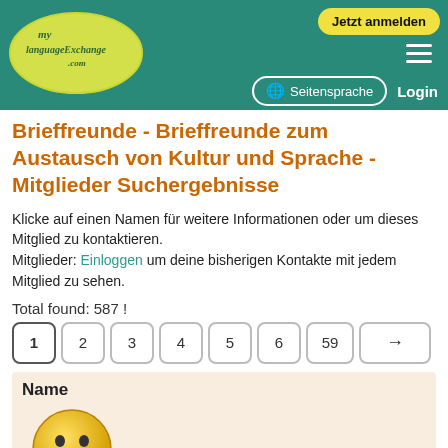[Figure (logo): MyLanguageExchange.com logo on teal header with yellow oval]
Jetzt anmelden | Seitensprache | Login
Brieffreunde - Brieffreunde zum Austausch von Kultur und Sprache - Mitglieder Suchergebnisse
Klicke auf einen Namen für weitere Informationen oder um dieses Mitglied zu kontaktieren.
Mitglieder: Einloggen um deine bisherigen Kontakte mit jedem Mitglied zu sehen.
Total found: 587 !
Pagination: 1 2 3 4 5 6 59 →
| Name |
| --- |
[Figure (illustration): Yellow smiley face placeholder image with caption 'Waiting for picture']